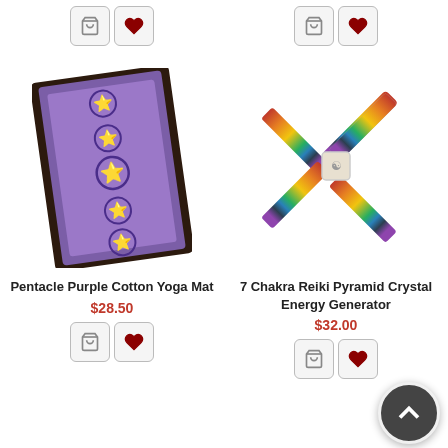[Figure (screenshot): Top buttons for previous product (left column) - cart and heart icons]
[Figure (screenshot): Top buttons for previous product (right column) - cart and heart icons]
[Figure (photo): Pentacle Purple Cotton Yoga Mat - purple rectangular mat with pentacle star pattern and dark border]
Pentacle Purple Cotton Yoga Mat
$28.50
[Figure (screenshot): Add to cart and wishlist buttons for Pentacle Purple Cotton Yoga Mat]
[Figure (photo): 7 Chakra Reiki Pyramid Crystal Energy Generator - four colored crystal wands arranged in X shape with white pyramid center]
7 Chakra Reiki Pyramid Crystal Energy Generator
$32.00
[Figure (screenshot): Add to cart and wishlist buttons for 7 Chakra Reiki Pyramid Crystal Energy Generator, plus scroll-to-top button]